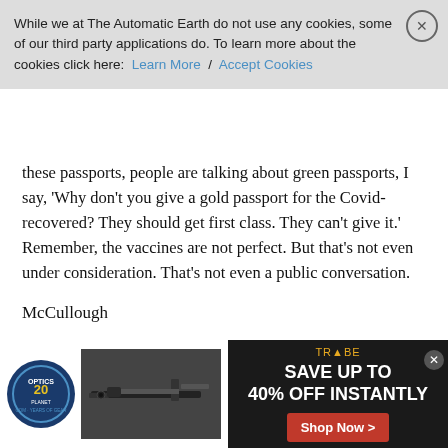While we at The Automatic Earth do not use any cookies, some of our third party applications do. To learn more about the cookies click here: Learn More / Accept Cookies
these passports, people are talking about green passports, I say, 'Why don't you give a gold passport for the Covid-recovered? They should get first class. They can't give it.' Remember, the vaccines are not perfect. But that's not even under consideration. That's not even a public conversation.
McCullough
Dr. McCullough doesn't shy away from any hot topic: "Something is VERY WRONG with what's going on in the world. […] This is about marking people." 2/5 pic.twitter.com/kWLt8utZGR
— Wake Up From COVID (@wakeupfromcovid) May 23, 2021
Not many have spoken out during this whole conundrum. But you
[Figure (infographic): Advertisement banner for Optics Planet 20 Years of Gear with a rifle image and Trybe.com offer: Save up to 40% off instantly with Shop Now button]